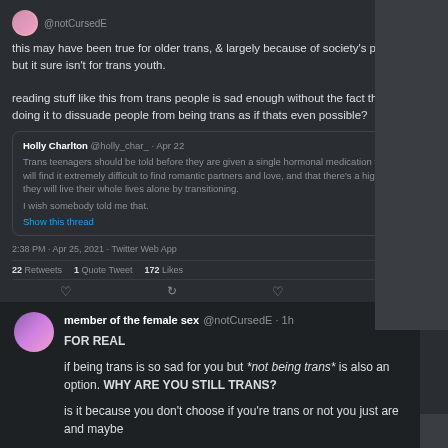[Figure (screenshot): Screenshot of Twitter/social media thread showing tweets about trans youth and hormonal medication]
@notCursedE
this may have been true for older trans, & largely because of society's prejudice. but it sure isn't for trans youth.

reading stuff like this from trans people is sad enough without the fact they're only doing it to dissuade people from being trans as if thats even possible?
Holly Charlton @holly_char_ · Apr 22
Trans teenagers should be told before they are given a single hormonal medication that they will find it extremely difficult to find romantic partners and love, and that there's a high chance they will live their whole lives alone by transitioning.

I wish somebody told me that.
Show this thread
2:38 PM · Apr 25, 2021 · Twitter Web App
22 Retweets   1 Quote Tweet   172 Likes
member of the female sex @notCursedE · 1h
Replying to @notCursedE
when you tweet stuff like this just remember that your words are the ones being sent around to justify the torture of children

then shut the fuck up
member of the female sex @notCursedE · 1h
FOR REAL

if being trans is so sad for you but *not being trans* is also an option. WHY ARE YOU STILL TRANS?

is it because you don't choose if you're trans or not you just are and maybe